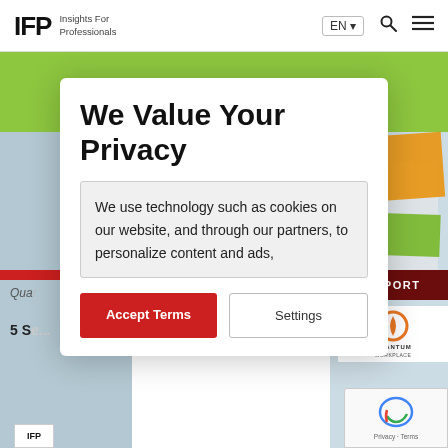IFP Insights For Professionals | EN | Search | Menu
[Figure (screenshot): Website screenshot showing IFP (Insights For Professionals) page with green banner, blurred background photo with sticky notes, REPORT badge, and Quantum logo in the background behind a privacy consent modal dialog.]
We Value Your Privacy
We use technology such as cookies on our website, and through our partners, to personalize content and ads,
Accept Terms
Settings